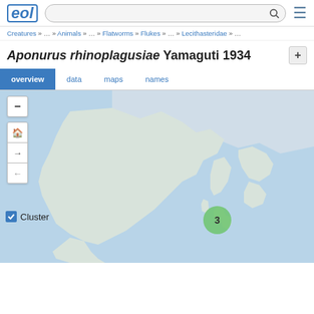EOL [search bar]
Creatures » … » Animals » … » Flatworms » Flukes » … » Lecithasteridae » …
Aponurus rhinoplagusiae Yamaguti 1934
overview  data  maps  names
[Figure (map): Interactive map of East Asia showing a green cluster marker labeled '3' positioned east of China in the Pacific Ocean region near Japan, indicating 3 occurrence records for Aponurus rhinoplagusiae. Map includes navigation controls (zoom minus, home, forward, back) and a 'Cluster' checkbox.]